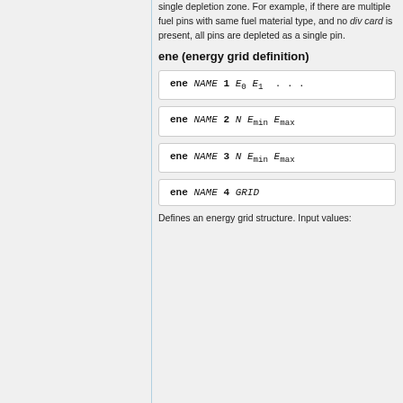single depletion zone. For example, if there are multiple fuel pins with same fuel material type, and no div card is present, all pins are depleted as a single pin.
ene (energy grid definition)
Defines an energy grid structure. Input values: